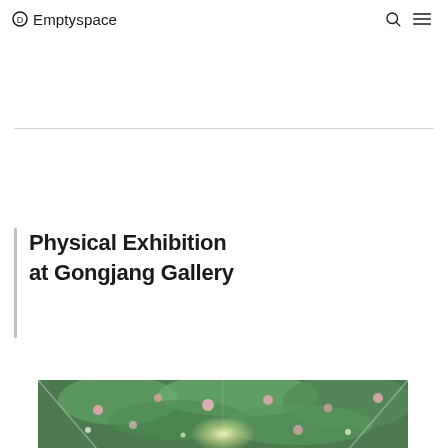D Emptyspace
Physical Exhibition at Gongjang Gallery
[Figure (photo): Interior photo of a gallery ceiling with colorful floral/botanical artwork in green and pink tones, with bright light emanating from the center]